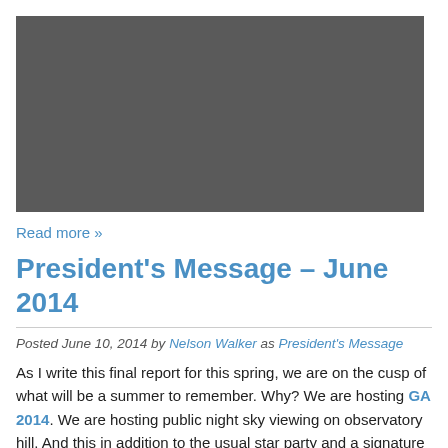[Figure (photo): Dark gray rectangular image placeholder at the top of the page]
Read more »
President's Message – June 2014
Posted June 10, 2014 by Nelson Walker as President's Message
As I write this final report for this spring, we are on the cusp of what will be a summer to remember. Why? We are hosting GA 2014. We are hosting public night sky viewing on observatory hill. And this in addition to the usual star party and a signature outreach event.